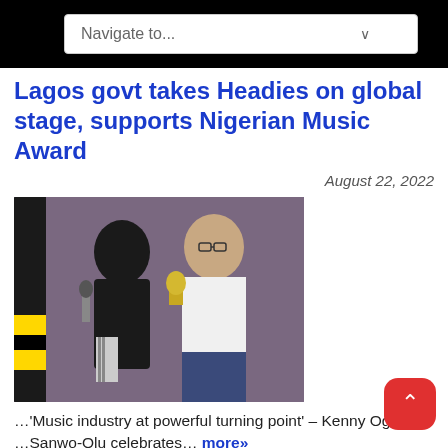Navigate to...
Lagos govt takes Headies on global stage, supports Nigerian Music Award
August 22, 2022
[Figure (photo): Two men on stage, one in dark outfit holding a microphone, one in white shirt holding an award trophy]
…‘Music industry at powerful turning point’ – Kenny Ogungbe …Sanwo-Olu celebrates… more»